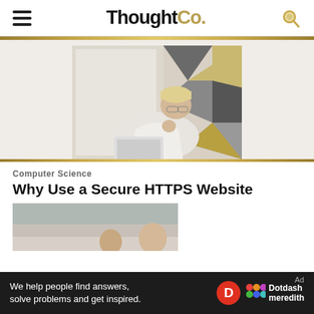ThoughtCo.
[Figure (photo): Woman with short blonde hair wearing a white long-sleeve shirt, sitting and looking at a laptop, with a geometric patterned background]
Computer Science
Why Use a Secure HTTPS Website
[Figure (photo): Partial image of people working at a desk, article hero image]
We help people find answers, solve problems and get inspired.
[Figure (logo): Dotdash Meredith logo with red D circle and colorful dots]